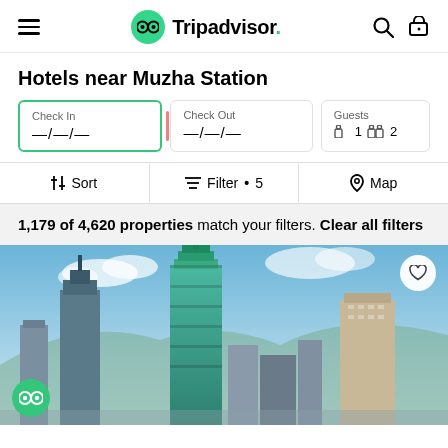Tripadvisor
Hotels near Muzha Station
Check In —/—/— Check Out —/—/— Guests 1 2
Sort | Filter • 5 | Map
1,179 of 4,620 properties match your filters. Clear all filters
[Figure (photo): City skyline photo showing Taipei 101 and other skyscrapers under blue sky with clouds]